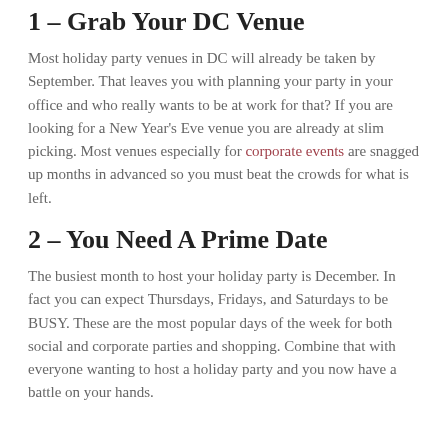1 – Grab Your DC Venue
Most holiday party venues in DC will already be taken by September. That leaves you with planning your party in your office and who really wants to be at work for that? If you are looking for a New Year's Eve venue you are already at slim picking. Most venues especially for corporate events are snagged up months in advanced so you must beat the crowds for what is left.
2 – You Need A Prime Date
The busiest month to host your holiday party is December. In fact you can expect Thursdays, Fridays, and Saturdays to be BUSY. These are the most popular days of the week for both social and corporate parties and shopping. Combine that with everyone wanting to host a holiday party and you now have a battle on your hands.